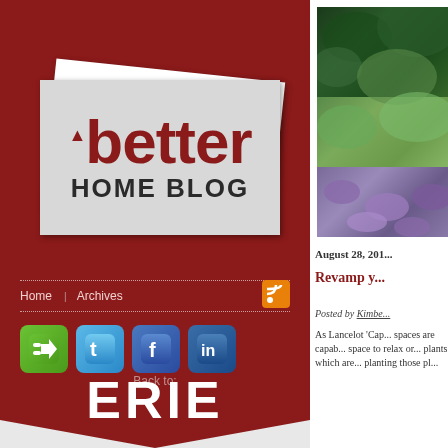[Figure (logo): Better Home Blog logo on card-like background with ERIE Insurance sidebar]
Home  Archives
[Figure (infographic): Social media icons: green share icon, Twitter, Facebook, LinkedIn]
Back to:
ERIE
[Figure (photo): Garden photo showing dense foliage with purple flowering plants]
August 28, 201...
Revamp y...
Posted by Kimbe...
As Lancelot 'Cap... spaces are capab... space to relax or... plants which are... planting those pl...